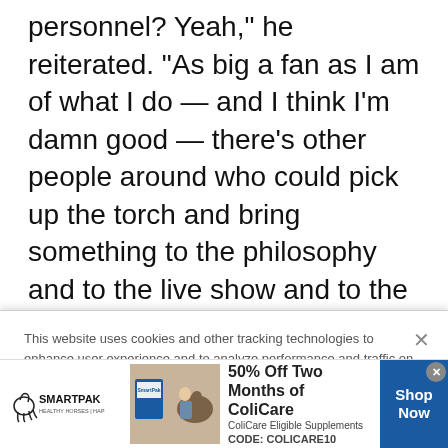personnel? Yeah," he reiterated. "As big a fan as I am of what I do — and I think I'm damn good — there's other people around who could pick up the torch and bring something to the philosophy and to the live show and to the music. It would be KISS. It wouldn't be KISS 2.0. If it were to happen, yeah, it would be really just a continuation of the philosophy that we've always had, and that's that KISS is bigger than any
This website uses cookies and other tracking technologies to enhance user experience and to analyze performance and traffic on our website. Information about your use of our site may also be shared with social media, advertising, retail and analytics providers and partners. Privacy Policy
[Figure (other): SmartPak advertisement banner showing horse supplement product with a woman and horse, promoting 50% Off Two Months of ColiCare with code COLICARE10]